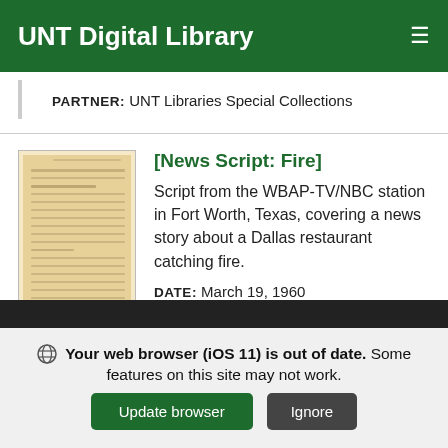UNT Digital Library
PARTNER: UNT Libraries Special Collections
[News Script: Fire]
Script from the WBAP-TV/NBC station in Fort Worth, Texas, covering a news story about a Dallas restaurant catching fire.
DATE: March 19, 1960
CREATOR: WBAP-TV
[Figure (photo): Thumbnail of an aged document page with handwritten/typed text lines on yellowed paper]
Your web browser (iOS 11) is out of date. Some features on this site may not work.